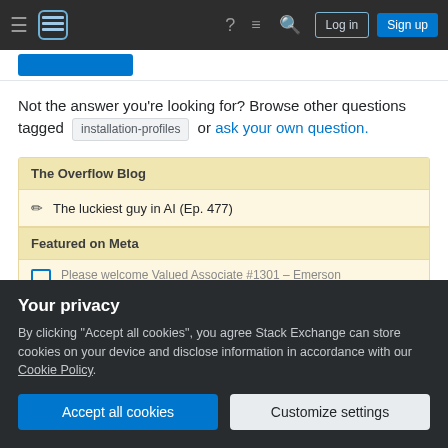Stack Exchange navigation bar with hamburger menu, logo, help, chat, search icons, Log in and Sign up buttons
Not the answer you're looking for? Browse other questions tagged installation-profiles or ask your own question.
The Overflow Blog
The luckiest guy in AI (Ep. 477)
Featured on Meta
Please welcome Valued Associate #1301 – Emerson
Your privacy
By clicking "Accept all cookies", you agree Stack Exchange can store cookies on your device and disclose information in accordance with our Cookie Policy.
Accept all cookies   Customize settings